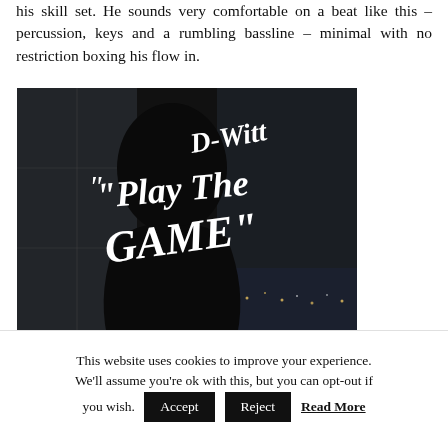his skill set. He sounds very comfortable on a beat like this – percussion, keys and a rumbling bassline – minimal with no restriction boxing his flow in.
[Figure (photo): Album artwork / promotional image for D-Witt 'Play The Game' showing a silhouette of a person against a dark urban background with large stylized handwritten white text reading 'D-Witt Play The Game'.]
This website uses cookies to improve your experience. We'll assume you're ok with this, but you can opt-out if you wish. Accept Reject Read More